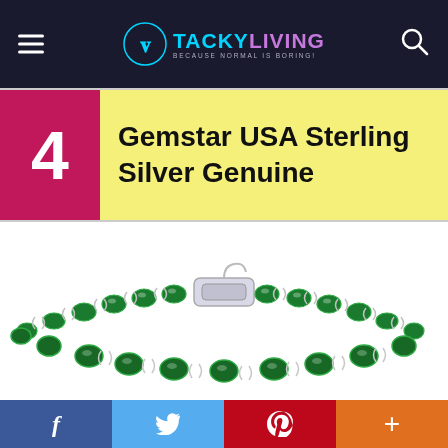TACKY LIVING — BECAUSE NORMAL IS BORING!
4 Gemstar USA Sterling Silver Genuine
[Figure (photo): A sterling silver and green gemstone tennis bracelet with oval-cut emerald-colored stones alternating with silver X and O link settings, photographed on white background showing two rows of the bracelet.]
f  Twitter  P  +